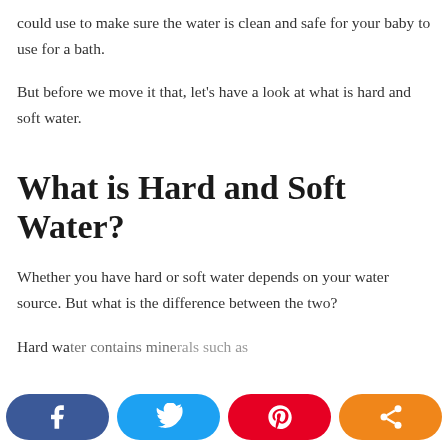could use to make sure the water is clean and safe for your baby to use for a bath.
But before we move it that, let's have a look at what is hard and soft water.
What is Hard and Soft Water?
Whether you have hard or soft water depends on your water source. But what is the difference between the two?
Hard wa...ries mine...h as...al...
[Figure (other): Social media sharing bar with four buttons: Facebook (dark blue, f icon), Twitter (light blue, bird icon), Pinterest (red, P icon), Share (orange, share icon)]